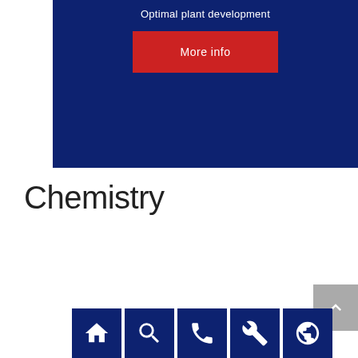[Figure (screenshot): Dark blue banner section with text 'Optimal plant development' and a red 'More info' button]
Chemistry
[Figure (infographic): Row of 5 dark blue icon buttons: home, search, phone, wrench/settings, globe. Plus a grey scroll-to-top button with up arrow on the right.]